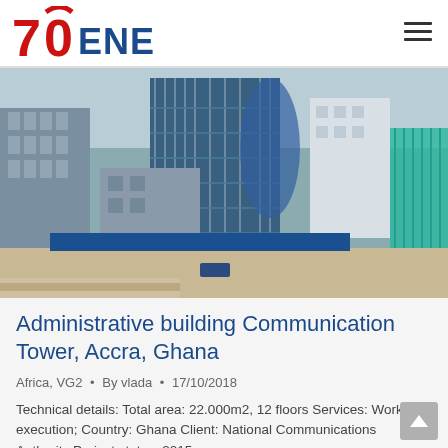ENERGOPROJEKT
[Figure (photo): Aerial/elevated view of construction site showing a large blue-clad multi-storey administrative building under construction in Accra, Ghana, with scaffolding visible, a circular tower element, surrounding structures and a teal glass facade building on the right.]
Administrative building Communication Tower, Accra, Ghana
Africa, VG2 • By vlada • 17/10/2018
Technical details: Total area: 22.000m2, 12 floors Services: Works execution; Country: Ghana Client: National Communications Authority Project status: 2015